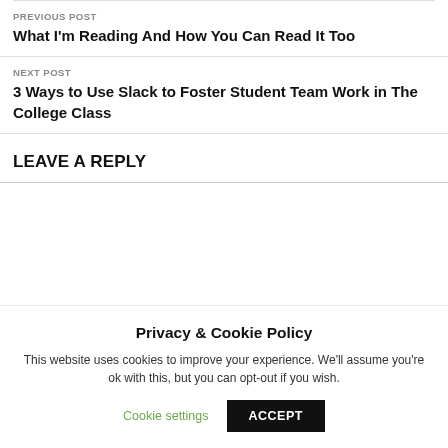PREVIOUS POST
What I'm Reading And How You Can Read It Too
NEXT POST
3 Ways to Use Slack to Foster Student Team Work in The College Class
LEAVE A REPLY
Privacy & Cookie Policy
This website uses cookies to improve your experience. We'll assume you're ok with this, but you can opt-out if you wish.
Cookie settings  ACCEPT